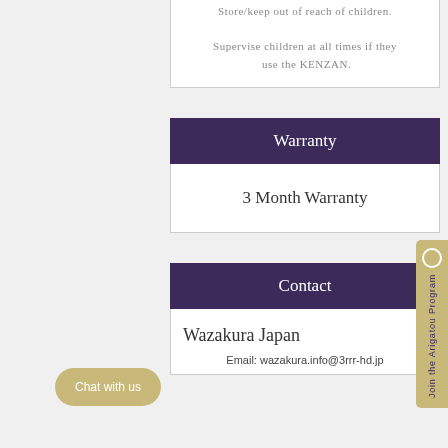Store/keep out of reach of children.

Supervise children at all times if they use the KENZAN.
Warranty
3 Month Warranty
Contact
Wazakura Japan
Email: wazakura.info@3rrr-hd.jp
Chat with us
Join the Arigatou Program